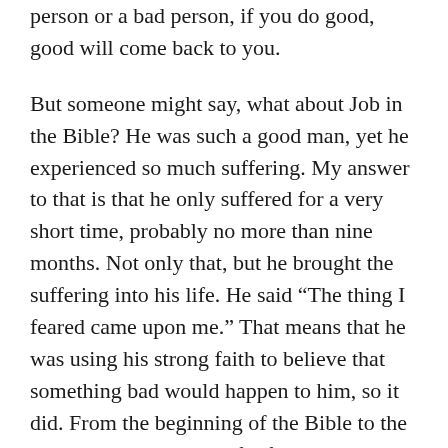person or a bad person, if you do good, good will come back to you.
But someone might say, what about Job in the Bible? He was such a good man, yet he experienced so much suffering. My answer to that is that he only suffered for a very short time, probably no more than nine months. Not only that, but he brought the suffering into his life. He said “The thing I feared came upon me.” That means that he was using his strong faith to believe that something bad would happen to him, so it did. From the beginning of the Bible to the end, we see how powerful faith is.